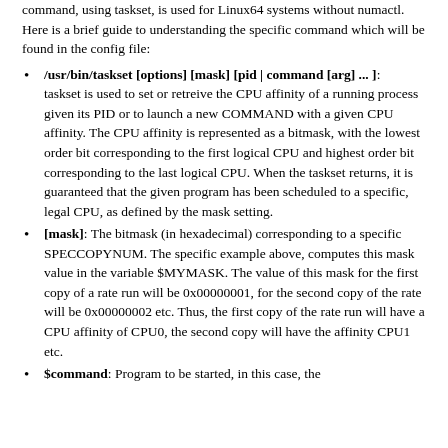command, using taskset, is used for Linux64 systems without numactl.
Here is a brief guide to understanding the specific command which will be found in the config file:
/usr/bin/taskset [options] [mask] [pid | command [arg] ... ]: taskset is used to set or retreive the CPU affinity of a running process given its PID or to launch a new COMMAND with a given CPU affinity. The CPU affinity is represented as a bitmask, with the lowest order bit corresponding to the first logical CPU and highest order bit corresponding to the last logical CPU. When the taskset returns, it is guaranteed that the given program has been scheduled to a specific, legal CPU, as defined by the mask setting.
[mask]: The bitmask (in hexadecimal) corresponding to a specific SPECCOPYNUM. The specific example above, computes this mask value in the variable $MYMASK. The value of this mask for the first copy of a rate run will be 0x00000001, for the second copy of the rate will be 0x00000002 etc. Thus, the first copy of the rate run will have a CPU affinity of CPU0, the second copy will have the affinity CPU1 etc.
$command: Program to be started, in this case, the